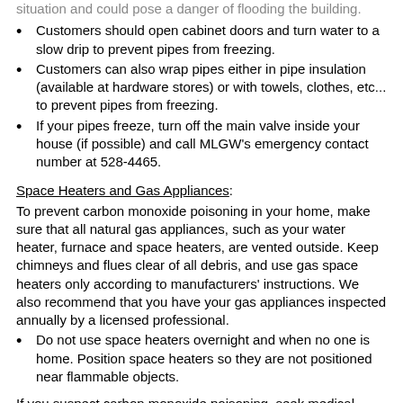Customers should open cabinet doors and turn water to a slow drip to prevent pipes from freezing.
Customers can also wrap pipes either in pipe insulation (available at hardware stores) or with towels, clothes, etc... to prevent pipes from freezing.
If your pipes freeze, turn off the main valve inside your house (if possible) and call MLGW's emergency contact number at 528-4465.
Space Heaters and Gas Appliances:
To prevent carbon monoxide poisoning in your home, make sure that all natural gas appliances, such as your water heater, furnace and space heaters, are vented outside. Keep chimneys and flues clear of all debris, and use gas space heaters only according to manufacturers' instructions. We also recommend that you have your gas appliances inspected annually by a licensed professional.
Do not use space heaters overnight and when no one is home. Position space heaters so they are not positioned near flammable objects.
If you suspect carbon monoxide poisoning, seek medical assistance immediately and move the victim, if possible, to a well-ventilated area, then call our 24-hour emergency number, 528-4465.